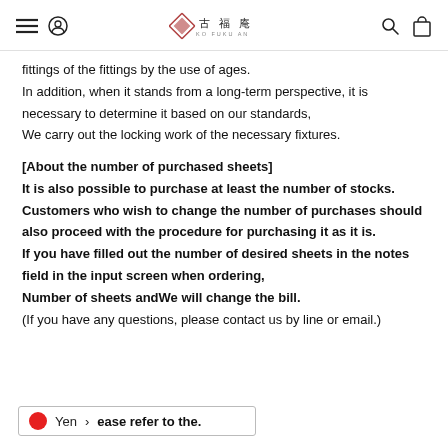古 福 庵 (KO FUKU AN) — navigation header with hamburger, user, logo, search, cart icons
fittings of the fittings by the use of ages.
In addition, when it stands from a long-term perspective, it is necessary to determine it based on our standards,
We carry out the locking work of the necessary fixtures.
[About the number of purchased sheets]
It is also possible to purchase at least the number of stocks.
Customers who wish to change the number of purchases should also proceed with the procedure for purchasing it as it is.
If you have filled out the number of desired sheets in the notes field in the input screen when ordering,
Number of sheets andWe will change the bill.
(If you have any questions, please contact us by line or email.)
Yen > ease refer to the.